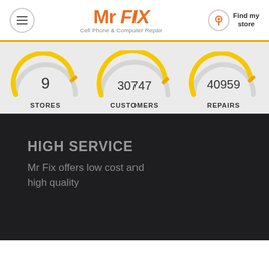Mr FIX Cell Phone & Computer Repair | Find my store
[Figure (infographic): Three gauge/dial indicators showing: STORES=9, CUSTOMERS=30747, REPAIRS=40959 with yellow arc dials on grey background]
HIGH SERVICE
Mr Fix offers low cost and high quality